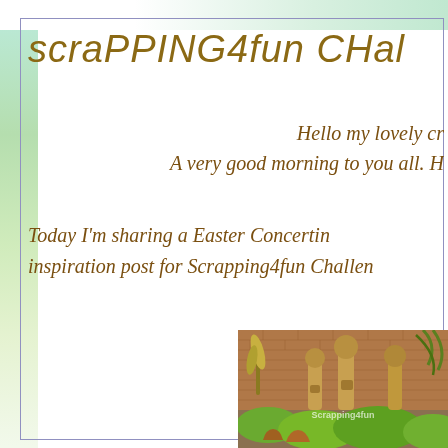scraPPING4fun CHal
Hello my lovely cr
A very good morning to you all. H
Today I'm sharing a Easter Concertin
inspiration post for Scrapping4fun Challen
[Figure (photo): Garden scene with wooden sculptures/totems, green bushes, plants, brick wall background, terracotta pots. Watermark text 'Scrapping4fun' visible.]